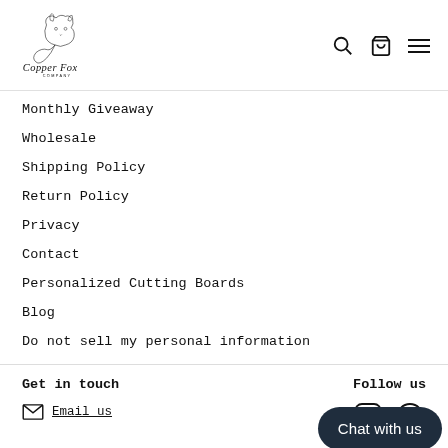[Figure (logo): Copper Fox Company logo with fox illustration]
Monthly Giveaway
Wholesale
Shipping Policy
Return Policy
Privacy
Contact
Personalized Cutting Boards
Blog
Do not sell my personal information
Get in touch
Email us
Follow us
[Figure (illustration): Instagram and Facebook social media icons]
Chat with us